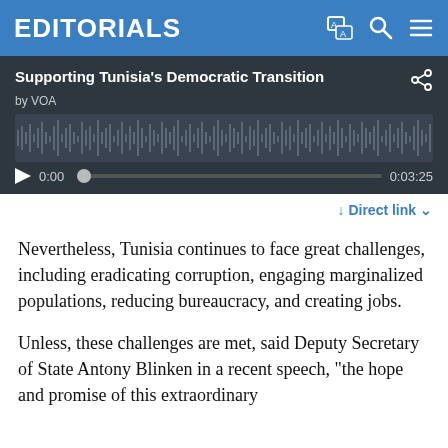EDITORIALS
[Figure (screenshot): Audio player widget with title 'Supporting Tunisia's Democratic Transition by VOA', waveform display, play button, time 0:00, progress bar, and total duration 0:03:25]
↓ Direct link ∨
Nevertheless, Tunisia continues to face great challenges, including eradicating corruption, engaging marginalized populations, reducing bureaucracy, and creating jobs.
Unless, these challenges are met, said Deputy Secretary of State Antony Blinken in a recent speech, "the hope and promise of this extraordinary